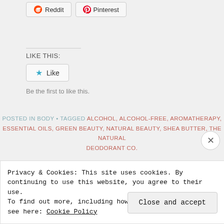[Figure (screenshot): Social sharing buttons: Reddit and Pinterest]
LIKE THIS:
[Figure (screenshot): Like button with star icon]
Be the first to like this.
POSTED IN BODY • TAGGED ALCOHOL, ALCOHOL-FREE, AROMATHERAPY, ESSENTIAL OILS, GREEN BEAUTY, NATURAL BEAUTY, SHEA BUTTER, THE NATURAL DEODORANT CO.
Privacy & Cookies: This site uses cookies. By continuing to use this website, you agree to their use. To find out more, including how to control cookies, see here: Cookie Policy
Close and accept